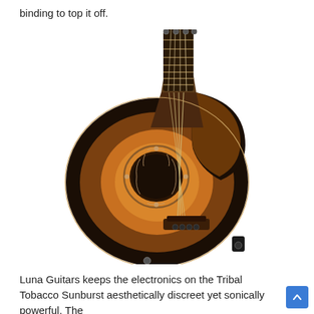binding to top it off.
[Figure (photo): An acoustic-electric bass guitar with a tobacco sunburst finish, tribal rosette around the sound hole, cutaway body, four strings, and a built-in electronics jack on the lower bout. The neck and fretboard are dark wood.]
Luna Guitars keeps the electronics on the Tribal Tobacco Sunburst aesthetically discreet yet sonically powerful. The